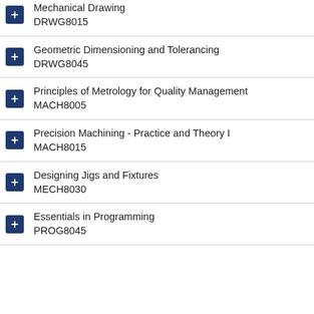Mechanical Drawing
DRWG8015
Geometric Dimensioning and Tolerancing
DRWG8045
Principles of Metrology for Quality Management
MACH8005
Precision Machining - Practice and Theory I
MACH8015
Designing Jigs and Fixtures
MECH8030
Essentials in Programming
PROG8045